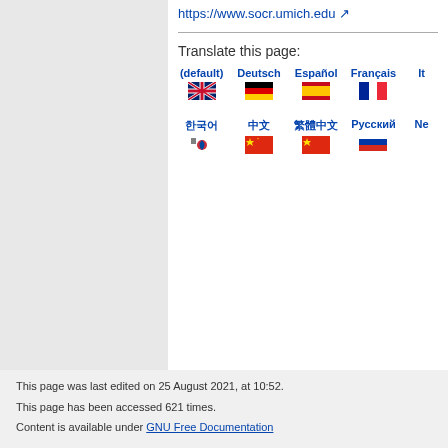https://www.socr.umich.edu
Translate this page:
[Figure (other): Language selection flags: (default) English, Deutsch German, Español Spanish, Français French, It... (Italian cut off), Korean, Chinese simplified, Chinese traditional, Русский Russian, Ne... (cut off)]
This page was last edited on 25 August 2021, at 10:52.
This page has been accessed 621 times.
Content is available under GNU Free Documentation ...